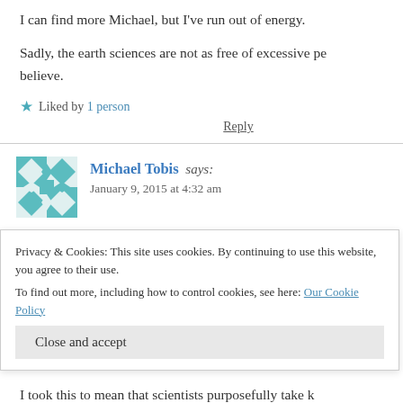I can find more Michael, but I’ve run out of energy.
Sadly, the earth sciences are not as free of excessive pe… believe.
★ Liked by 1 person
Reply
Michael Tobis says:
January 9, 2015 at 4:32 am
“It was a very brief exchange and Dr. Trenberth is a so…
Privacy & Cookies: This site uses cookies. By continuing to use this website, you agree to their use.
To find out more, including how to control cookies, see here: Our Cookie Policy
Close and accept
I took this to mean that scientists purposefully take k…